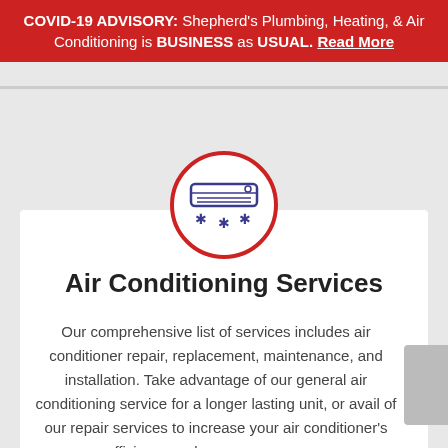COVID-19 ADVISORY: Shepherd's Plumbing, Heating, & Air Conditioning is BUSINESS as USUAL. Read More
[Figure (illustration): Air conditioning unit icon inside a red circle. Shows a wall-mounted AC unit with snowflake symbols below it, drawn in blue/navy lines.]
Air Conditioning Services
Our comprehensive list of services includes air conditioner repair, replacement, maintenance, and installation. Take advantage of our general air conditioning service for a longer lasting unit, or avail of our repair services to increase your air conditioner's efficiency and save more on your